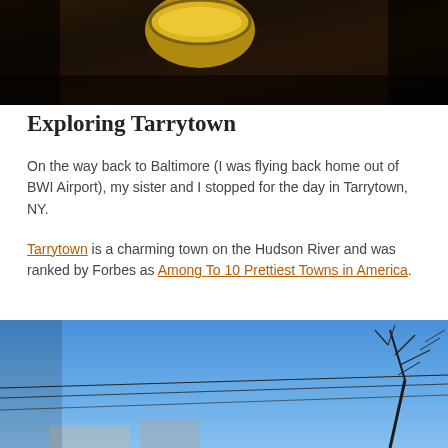[Figure (photo): Top portion of a photo, dark tones with what appears to be a yellow object, cropped at top of page]
Exploring Tarrytown
On the way back to Baltimore (I was flying back home out of BWI Airport), my sister and I stopped for the day in Tarrytown, NY.
Tarrytown is a charming town on the Hudson River and was ranked by Forbes as Among To 10 Prettiest Towns in America.
[Figure (photo): Bottom portion showing a blue sky with bare tree branches and power lines, street scene in Tarrytown NY]